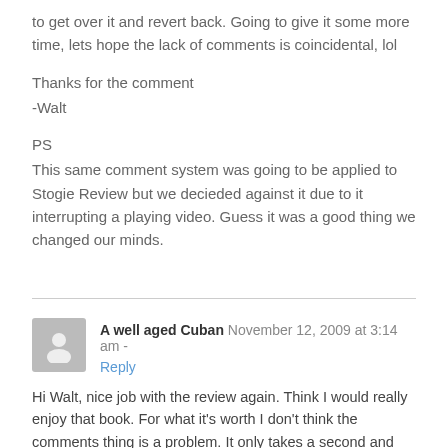to get over it and revert back. Going to give it some more time, lets hope the lack of comments is coincidental, lol
Thanks for the comment
-Walt
PS
This same comment system was going to be applied to Stogie Review but we decieded against it due to it interrupting a playing video. Guess it was a good thing we changed our minds.
A well aged Cuban  November 12, 2009 at 3:14 am -
Reply
Hi Walt, nice job with the review again. Think I would really enjoy that book. For what it's worth I don't think the comments thing is a problem. It only takes a second and you're there. If I am allowed to make a suggestion while I am here? I used to really enjoy the first impression cigar